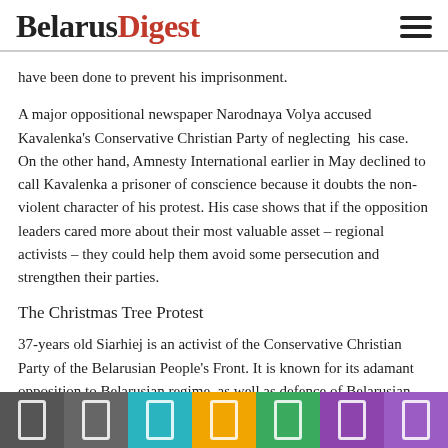BelarusDigest
have been done to prevent his imprisonment.
A major oppositional newspaper Narodnaya Volya accused Kavalenka's Conservative Christian Party of neglecting his case. On the other hand, Amnesty International earlier in May declined to call Kavalenka a prisoner of conscience because it doubts the non-violent character of his protest. His case shows that if the opposition leaders cared more about their most valuable asset – regional activists – they could help them avoid some persecution and strengthen their parties.
The Christmas Tree Protest
37-years old Siarhiej is an activist of the Conservative Christian Party of the Belarusian People's Front. It is known for its adamant opposition to Belarusian regime, as well as defence of Belarusian independence and culture. The leader of the party, Zianon Pazniak is a symbol of National Democratic opposition to both Soviet and Lukashenka's rule. In 1996, he fled abroad under pressure from the regime.